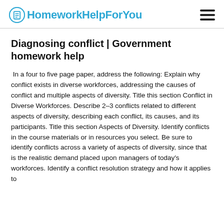HomeworkHelpForYou
Diagnosing conflict | Government homework help
In a four to five page paper, address the following: Explain why conflict exists in diverse workforces, addressing the causes of conflict and multiple aspects of diversity. Title this section Conflict in Diverse Workforces. Describe 2–3 conflicts related to different aspects of diversity, describing each conflict, its causes, and its participants. Title this section Aspects of Diversity. Identify conflicts in the course materials or in resources you select. Be sure to identify conflicts across a variety of aspects of diversity, since that is the realistic demand placed upon managers of today's workforces. Identify a conflict resolution strategy and how it applies to